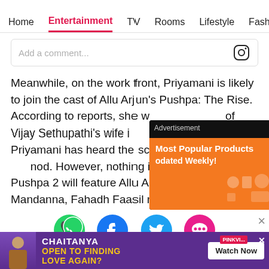Home  Entertainment  TV  Rooms  Lifestyle  Fash
Add a comment...
Meanwhile, on the work front, Priyamani is likely to join the cast of Allu Arjun's Pushpa: The Rise. According to reports, she will play the role of Vijay Sethupathi's wife in the film. While Priyamani has heard the script and has given her nod. However, nothing is official as yet. Also, Pushpa 2 will feature Allu Arjun and Rashmika Mandanna, Fahadh Faasil reprising their
[Figure (screenshot): Advertisement overlay with orange background showing 'Most Popular Products Updated Weekly!' with product icons]
[Figure (infographic): Social share icons: WhatsApp (green), Facebook (blue), Twitter (blue), chat bubble (pink)]
[Figure (screenshot): Bottom banner ad: CHAITANYA - OPEN TO FINDING LOVE AGAIN? with Watch Now button on purple background, PinkVilla branding]